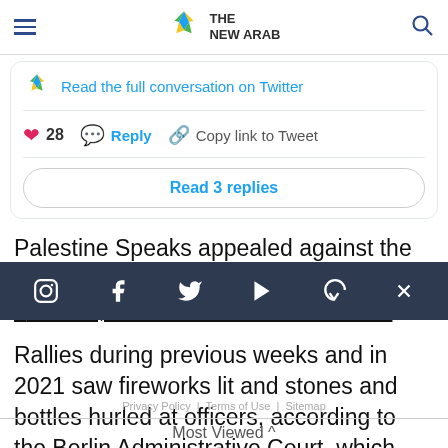The New Arab
Read the full conversation on Twitter
28  Reply  Copy link to Tweet
Read 3 replies
Palestine Speaks appealed against the police's decision, but this was denied on Friday.
Rallies during previous weeks and in 2021 saw fireworks lit and stones and bottles hurled at officers, according to the Berlin Administrative Court, which found this meant concern that there
Most Viewed ^